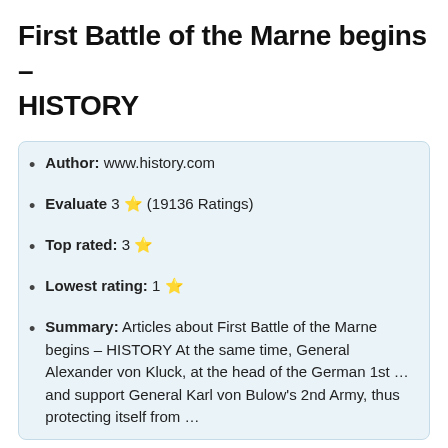First Battle of the Marne begins – HISTORY
Author: www.history.com
Evaluate 3 ⭐ (19136 Ratings)
Top rated: 3 ⭐
Lowest rating: 1 ⭐
Summary: Articles about First Battle of the Marne begins – HISTORY At the same time, General Alexander von Kluck, at the head of the German 1st … and support General Karl von Bulow's 2nd Army, thus protecting itself from …